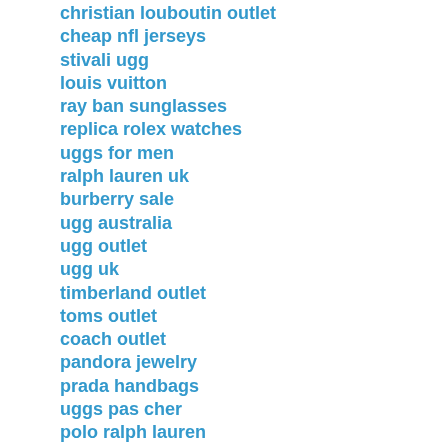christian louboutin outlet
cheap nfl jerseys
stivali ugg
louis vuitton
ray ban sunglasses
replica rolex watches
uggs for men
ralph lauren uk
burberry sale
ugg australia
ugg outlet
ugg uk
timberland outlet
toms outlet
coach outlet
pandora jewelry
prada handbags
uggs pas cher
polo ralph lauren
gucci outlet stores
true religion
coach outlet store online
adidas yeezy boost